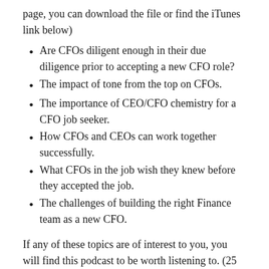page, you can download the file or find the iTunes link below)
Are CFOs diligent enough in their due diligence prior to accepting a new CFO role?
The impact of tone from the top on CFOs.
The importance of CEO/CFO chemistry for a CFO job seeker.
How CFOs and CEOs can work together successfully.
What CFOs in the job wish they knew before they accepted the job.
The challenges of building the right Finance team as a new CFO.
If any of these topics are of interest to you, you will find this podcast to be worth listening to. (25 minutes)